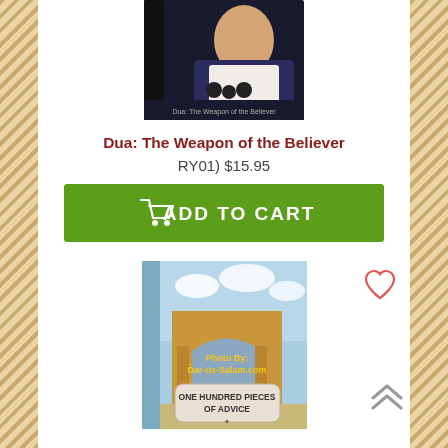[Figure (photo): Top portion of a book cover - Dua: The Weapon of the Believer, partially visible at top of page]
Dua: The Weapon of the Believer
RY01)  $15.95
[Figure (other): Green Add to Cart button with shopping cart icon]
[Figure (photo): Book cover of 'One Hundred Pieces of Advice' showing architectural scene with mosque/arches, watermarked with 'Photo By: Dar-us-Salam.com']
[Figure (other): Heart/wishlist icon outline in pink/red]
[Figure (other): Scroll-to-top arrow chevron icon]